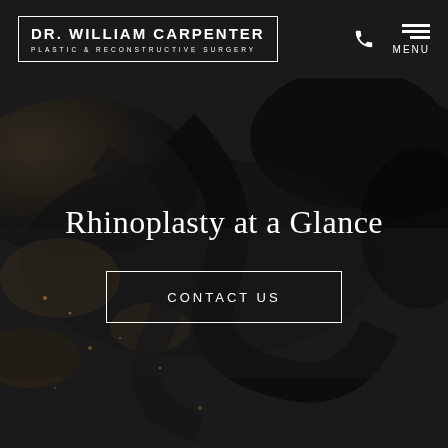DR. WILLIAM CARPENTER PLASTIC & RECONSTRUCTIVE SURGERY
Rhinoplasty at a Glance
CONTACT US